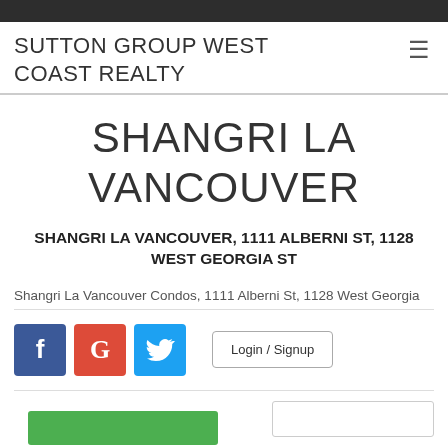SUTTON GROUP WEST COAST REALTY
SHANGRI LA VANCOUVER
SHANGRI LA VANCOUVER, 1111 ALBERNI ST, 1128 WEST GEORGIA ST
Shangri La Vancouver Condos, 1111 Alberni St, 1128 West Georgia
[Figure (other): Social media icons (Facebook, Google, Twitter) and Login/Signup button]
[Figure (other): Green button bar and gray box at bottom]